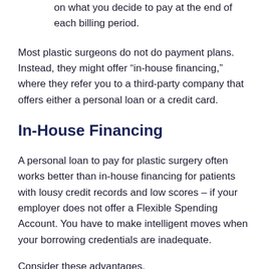installments that retire the obligation based on what you decide to pay at the end of each billing period.
Most plastic surgeons do not do payment plans. Instead, they might offer “in-house financing,” where they refer you to a third-party company that offers either a personal loan or a credit card.
In-House Financing
A personal loan to pay for plastic surgery often works better than in-house financing for patients with lousy credit records and low scores – if your employer does not offer a Flexible Spending Account. You have to make intelligent moves when your borrowing credentials are inadequate.
Consider these advantages.